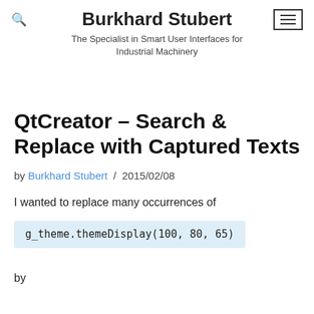Burkhard Stubert
The Specialist in Smart User Interfaces for Industrial Machinery
QtCreator – Search & Replace with Captured Texts
by Burkhard Stubert / 2015/02/08
I wanted to replace many occurrences of
g_theme.themeDisplay(100, 80, 65)
by